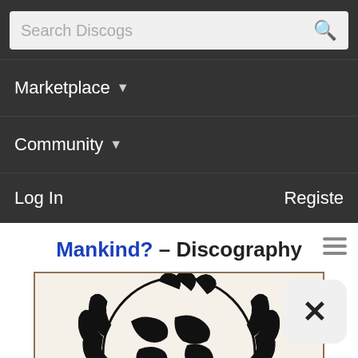Search Discogs
Marketplace ▾
Community ▾
Log In   Register
Mankind? – Discography
[Figure (illustration): Album cover artwork showing a globe wrapped by hands with the text MANKIND? at the bottom, black and white line art style on cream/beige background]